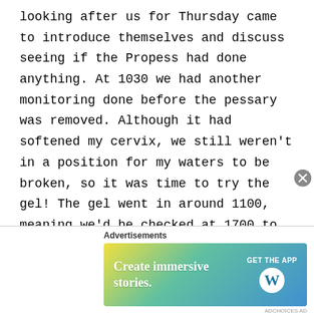looking after us for Thursday came to introduce themselves and discuss seeing if the Propess had done anything. At 1030 we had another monitoring done before the pessary was removed. Although it had softened my cervix, we still weren't in a position for my waters to be broken, so it was time to try the gel! The gel went in around 1100, meaning we'd be checked at 1700 to check progress.

By lunchtime, the headaches had really ramped up, and nothing was working. Alex had to help
[Figure (other): Advertisement banner: 'Create immersive stories. GET THE APP' with WordPress logo. Blue-green gradient background. Close button (X circle) overlaid at right.]